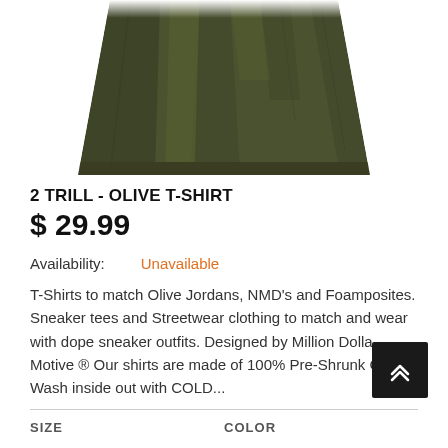[Figure (photo): Olive green folded t-shirt product photo on white background, showing bottom hem and body of the shirt with wrinkles, cropped at top]
2 TRILL - OLIVE T-SHIRT
$ 29.99
Availability:   Unavailable
T-Shirts to match Olive Jordans, NMD's and Foamposites. Sneaker tees and Streetwear clothing to match and wear with dope sneaker outfits. Designed by Million Dolla Motive ® Our shirts are made of 100% Pre-Shrunk Cotton Wash inside out with COLD...
SIZE
COLOR